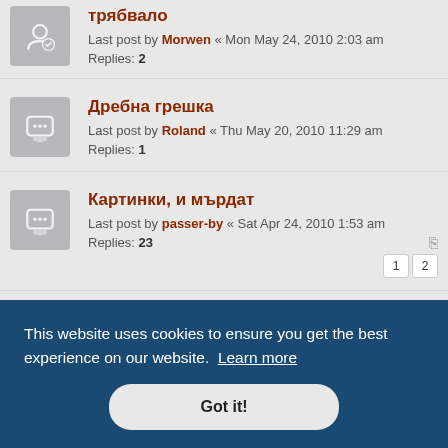трябвало — Last post by Morwen « Mon May 24, 2010 2:03 am — Replies: 2
Дребна грешка — Last post by Roland « Thu May 20, 2010 11:29 am — Replies: 1
Картинки, и мърдат — Last post by passer-by « Sat Apr 24, 2010 1:53 am — Replies: 23 — Pages: 1, 2
This website uses cookies to ensure you get the best experience on our website. Learn more
Got it!